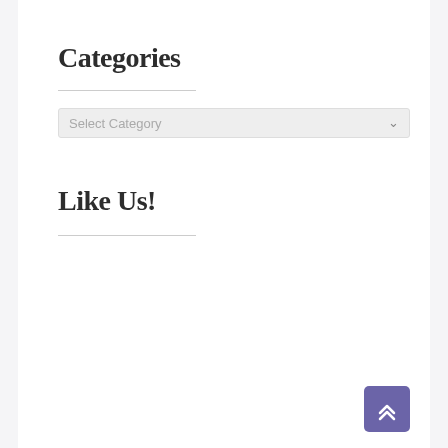Categories
[Figure (other): Select Category dropdown input box with a chevron arrow on the right]
Like Us!
[Figure (other): Purple back-to-top button with a double up-chevron arrow icon in the bottom right corner]